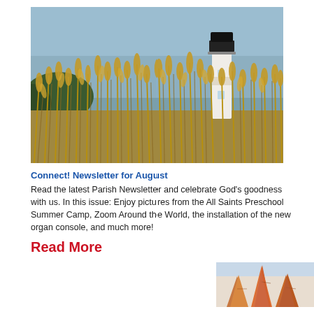[Figure (photo): Photograph of a lighthouse visible through tall golden reed grasses in the foreground, with a blue-grey sky in the background. A white lighthouse tower with a dark top is seen to the right.]
Connect! Newsletter for August
Read the latest Parish Newsletter and celebrate God's goodness with us. In this issue: Enjoy pictures from the All Saints Preschool Summer Camp, Zoom Around the World, the installation of the new organ console, and much more!
Read More
[Figure (photo): Partial photograph of colorful rock formations or canyon scenery, partially cut off at the bottom of the page.]